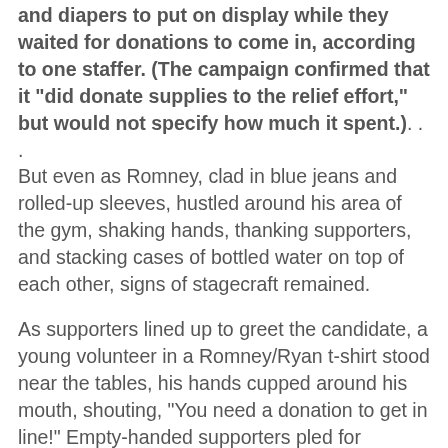and diapers to put on display while they waited for donations to come in, according to one staffer. (The campaign confirmed that it "did donate supplies to the relief effort," but would not specify how much it spent.). . . But even as Romney, clad in blue jeans and rolled-up sleeves, hustled around his area of the gym, shaking hands, thanking supporters, and stacking cases of bottled water on top of each other, signs of stagecraft remained.
As supporters lined up to greet the candidate, a young volunteer in a Romney/Ryan t-shirt stood near the tables, his hands cupped around his mouth, shouting, "You need a donation to get in line!" Empty-handed supporters pled for entrance, with one woman asking, "What if we dropped off our donations up front?"
The volunteer gestured toward a pile of groceries conveniently stacked near the candidate. "Just grab something," he said.